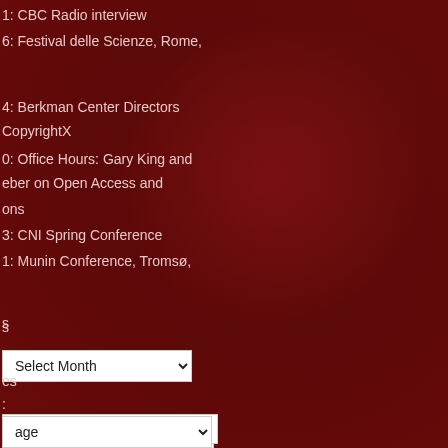1: CBC Radio interview
6: Festival delle Scienze, Rome,
4: Berkman Center Directors
CopyrightX
0: Office Hours: Gary King and
eber on Open Access and
ons
3: CNI Spring Conference
1: Munin Conference, Tromsø,
s
Select Month
:
ch
es
s
age